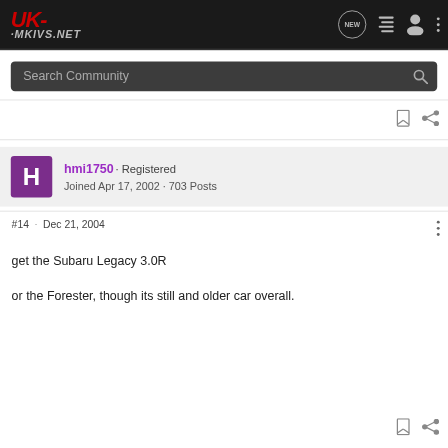UK-MKIVS.NET
Search Community
hmi1750 · Registered
Joined Apr 17, 2002 · 703 Posts
#14 · Dec 21, 2004
get the Subaru Legacy 3.0R
or the Forester, though its still and older car overall.